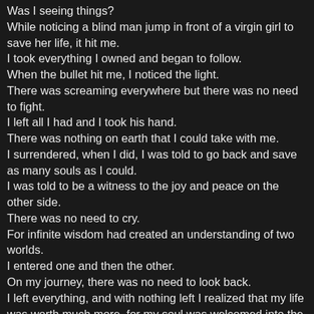Was I seeing things?
While noticing a blind man jump in front of a virgin girl to save her life, it hit me.
I took everything I owned and began to follow.
When the bullet hit me, I noticed the light.
There was screaming everywhere but there was no need to fight.
I left all I had and I took his hand.
There was nothing on earth that I could take with me.
I surrendered, when I did, I was told to go back and save as many souls as I could.
I was told to be a witness to the joy and peace on the other side.
There was no need to cry.
For infinite wisdom had created an understanding of two worlds.
I entered one and then the other.
On my journey, there was no need to look back.
I left everything, and with nothing left I realized that my life was worth much more, for my soul was welcomed into the light.
Is ink burnt wood and water?